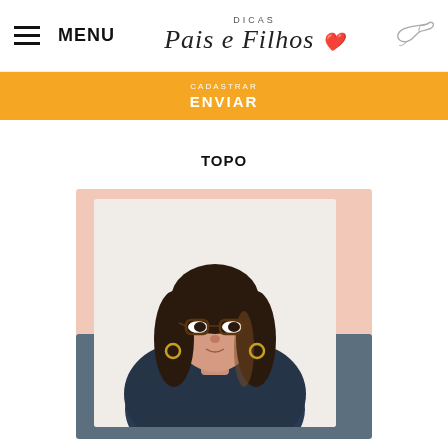MENU | DICAS Pais e Filhos
ENVIAR
TOPO
[Figure (photo): Portrait photo of a woman with dark hair, glasses, hoop earrings, wearing a dark floral jacket. Background is light/white. Image is framed with a peach color block top-right and slate blue block bottom-left.]